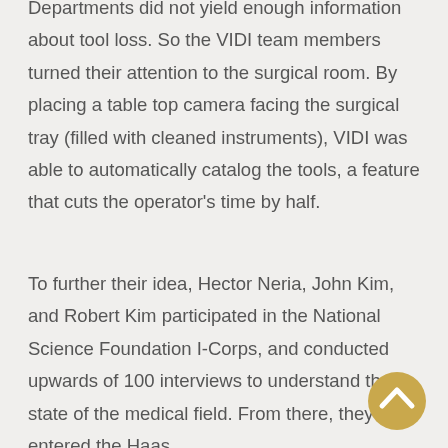Departments did not yield enough information about tool loss. So the VIDI team members turned their attention to the surgical room. By placing a table top camera facing the surgical tray (filled with cleaned instruments), VIDI was able to automatically catalog the tools, a feature that cuts the operator's time by half.
To further their idea, Hector Neria, John Kim, and Robert Kim participated in the National Science Foundation I-Corps, and conducted upwards of 100 interviews to understand the state of the medical field. From there, they entered the Haas
[Figure (other): A circular golden/tan button with an upward-pointing chevron/arrow icon, used as a scroll-to-top navigation button]